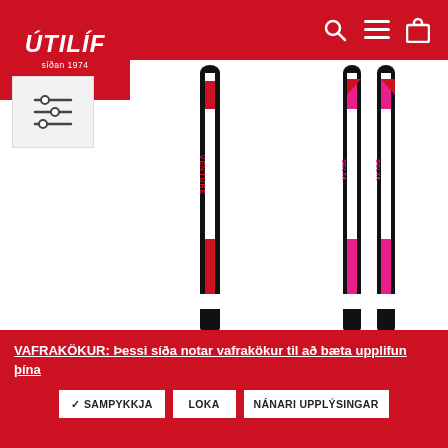ÚTILÍF síðan 1974
[Figure (illustration): Filter/settings sliders icon in a light gray box]
[Figure (photo): Rossignol XT Venture Waxless cross-country ski, white with black and red accents, vertical orientation]
Rossignol XT Venture Waxless
ROSSIGNOL
[Figure (photo): Rossignol Delta Sport R-Skin Stiff cross-country skis pair, white with pink/black accents, vertical orientation]
Rossignol Delta Sport R-Skin Stiff
ROSSIGNOL
VAFRAKÖKUR: Þessi síða notar vafrakökur til að bæta upplifun þína
✓ SAMPYKKJA   LOKA   NÁNARI UPPLÝSINGAR